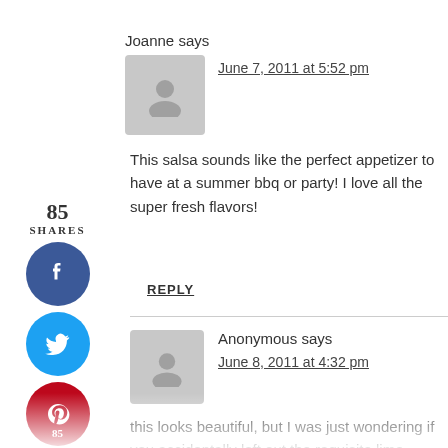[Figure (illustration): Gray avatar placeholder icon for user Joanne]
Joanne says
June 7, 2011 at 5:52 pm
This salsa sounds like the perfect appetizer to have at a summer bbq or party! I love all the super fresh flavors!
REPLY
[Figure (infographic): Social share sidebar with 85 shares, Facebook button, Twitter button, Pinterest button with count 85, and Yum button]
[Figure (illustration): Gray avatar placeholder icon for Anonymous commenter]
Anonymous says
June 8, 2011 at 4:32 pm
this looks beautiful, but I was just wondering if you accidentally left out the requisite lime juice, or whether it is intended to be made without any acidity!